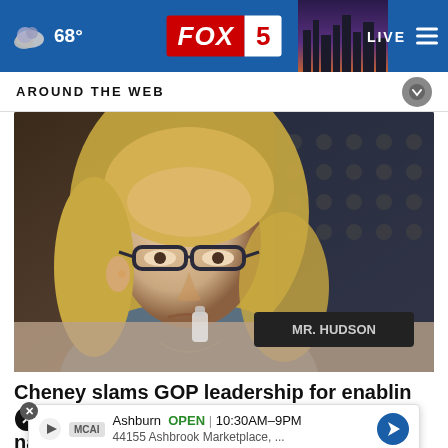68° FOX 5 LIVE
AROUND THE WEB
[Figure (photo): A woman with blonde hair and dark-rimmed glasses, seated at what appears to be a congressional hearing. An American flag is visible in the background. A nameplate is visible at the desk.]
Cheney slams GOP leadership for enabling white nationalism
Ashburn OPEN 10:30AM–9PM 44155 Ashbrook Marketplace, ...